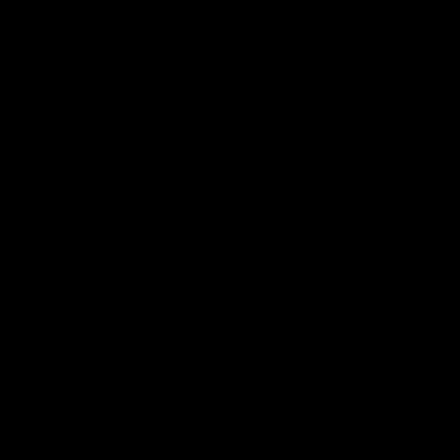[Figure (photo): Entirely black page with no visible content]